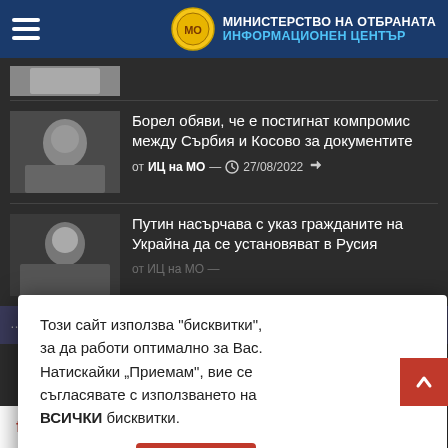МИНИСТЕРСТВО НА ОТБРАНАТА ИНФОРМАЦИОНЕН ЦЕНТЪР
[Figure (photo): Thumbnail photo of a person (top, partially cut)]
[Figure (photo): Thumbnail photo of Borrel]
Борел обяви, че е постигнат компромис между Сърбия и Косово за документите
от ИЦ на МО — 27/08/2022
[Figure (photo): Thumbnail photo of Putin]
Путин насърчава с указ гражданите на Украйна да се установяват в Русия
Този сайт използва "бисквитки", за да работи оптимално за Вас. Натискайки „Приемам", вие се съгласявате с използването на ВСИЧКИ бисквитки.
Настройки
Приемам
Антикорупция